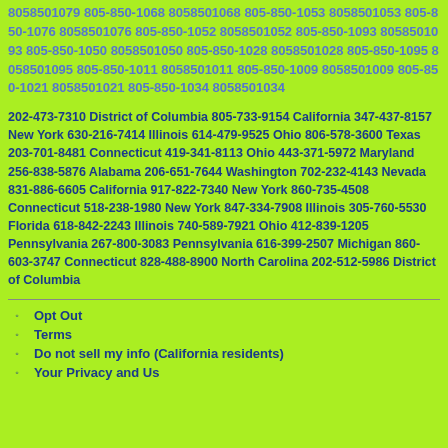8058501079 805-850-1068 8058501068 805-850-1053 8058501053 805-850-1076 8058501076 805-850-1052 8058501052 805-850-1093 8058501093 805-850-1050 8058501050 805-850-1028 8058501028 805-850-1095 8058501095 805-850-1011 8058501011 805-850-1009 8058501009 805-850-1021 8058501021 805-850-1034 8058501034
202-473-7310 District of Columbia 805-733-9154 California 347-437-8157 New York 630-216-7414 Illinois 614-479-9525 Ohio 806-578-3600 Texas 203-701-8481 Connecticut 419-341-8113 Ohio 443-371-5972 Maryland 256-838-5876 Alabama 206-651-7644 Washington 702-232-4143 Nevada 831-886-6605 California 917-822-7340 New York 860-735-4508 Connecticut 518-238-1980 New York 847-334-7908 Illinois 305-760-5530 Florida 618-842-2243 Illinois 740-589-7921 Ohio 412-839-1205 Pennsylvania 267-800-3083 Pennsylvania 616-399-2507 Michigan 860-603-3747 Connecticut 828-488-8900 North Carolina 202-512-5986 District of Columbia
Opt Out
Terms
Do not sell my info (California residents)
Your Privacy and Us